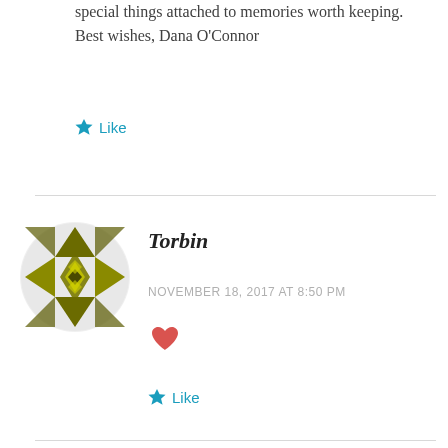special things attached to memories worth keeping.
Best wishes, Dana O'Connor
Like
[Figure (illustration): Geometric mosaic avatar with olive/dark yellow pattern for user Torbin]
Torbin
NOVEMBER 18, 2017 AT 8:50 PM
❤
Like